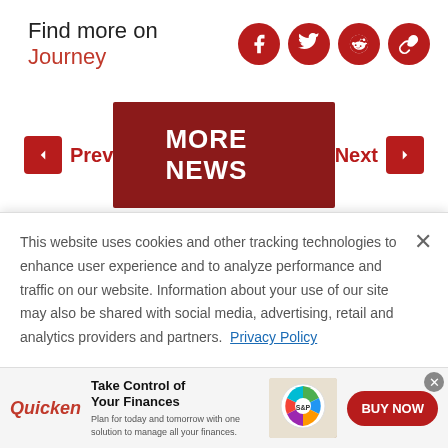Find more on Journey
[Figure (infographic): Social media icons: Facebook, Twitter, Reddit, Link — red circular buttons]
[Figure (infographic): Navigation row: Prev arrow button (red), MORE NEWS center button (dark red), Next arrow button (red)]
FROM THE WEB
Sponsored Links by Taboola
[Figure (photo): Three thumbnail images of people's faces/close-ups in a strip]
This website uses cookies and other tracking technologies to enhance user experience and to analyze performance and traffic on our website. Information about your use of our site may also be shared with social media, advertising, retail and analytics providers and partners.  Privacy Policy
[Figure (infographic): Quicken advertisement banner: Take Control of Your Finances. Plan for today and tomorrow with one solution to manage all your finances. BUY NOW button.]